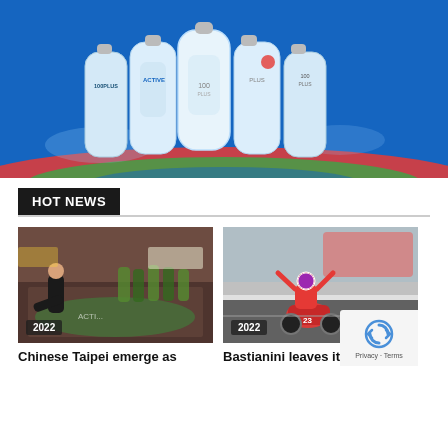[Figure (photo): 100PLUS sports drink advertisement banner showing multiple plastic bottles of 100PLUS Active on a blue background with water splashes and colorful swoosh graphics.]
HOT NEWS
[Figure (photo): Sports photo showing a martial arts or sepak takraw athlete in action on a colorful floor mat, with spectators and players in the background. Badge shows '2022'.]
Chinese Taipei emerge as
[Figure (photo): MotoGP rider on a motorcycle celebrating with arms raised on a race track. Badge shows '2022'.]
Bastianini leaves it late to